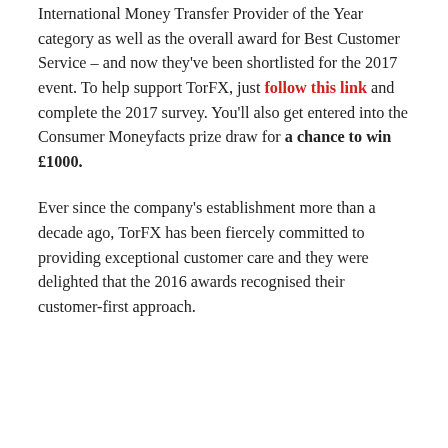International Money Transfer Provider of the Year category as well as the overall award for Best Customer Service – and now they've been shortlisted for the 2017 event. To help support TorFX, just follow this link and complete the 2017 survey. You'll also get entered into the Consumer Moneyfacts prize draw for a chance to win £1000.
Ever since the company's establishment more than a decade ago, TorFX has been fiercely committed to providing exceptional customer care and they were delighted that the 2016 awards recognised their customer-first approach.